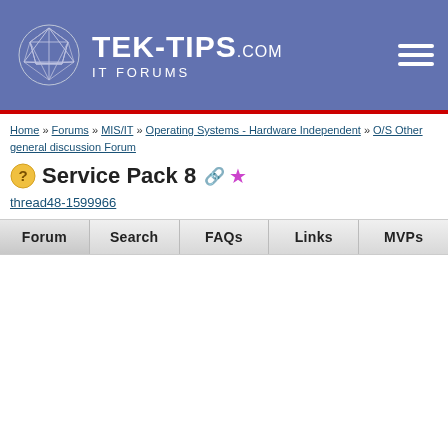[Figure (logo): Tek-Tips.com IT Forums logo with geometric sphere icon, white text on blue/purple banner background, hamburger menu icon on right]
Home » Forums » MIS/IT » Operating Systems - Hardware Independent » O/S Other general discussion Forum
Service Pack 8
thread48-1599966
| Forum | Search | FAQs | Links | MVPs |
| --- | --- | --- | --- | --- |